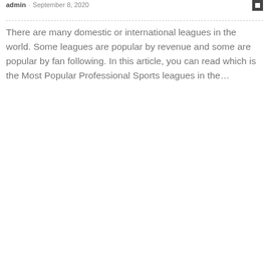admin · September 8, 2020
There are many domestic or international leagues in the world. Some leagues are popular by revenue and some are popular by fan following. In this article, you can read which is the Most Popular Professional Sports leagues in the...
Read more